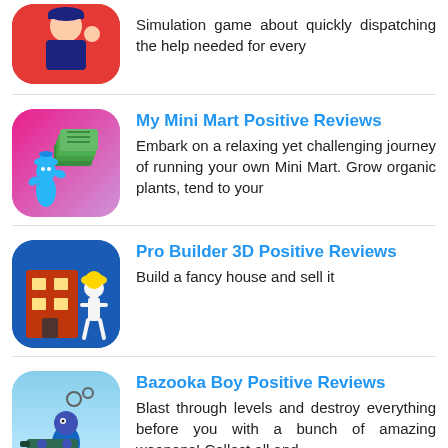[Figure (illustration): Partially visible app icon showing a fire fighter character on a red background]
Simulation game about quickly dispatching the help needed for every
[Figure (illustration): App icon for My Mini Mart showing a blue cartoon character with stacks of money on a pink/purple gradient background]
My Mini Mart Positive Reviews
Embark on a relaxing yet challenging journey of running your own Mini Mart. Grow organic plants, tend to your
[Figure (illustration): App icon for Pro Builder 3D showing a brick building and a white stick figure character wearing a yellow hard hat on a blue background]
Pro Builder 3D Positive Reviews
Build a fancy house and sell it
[Figure (illustration): App icon for Bazooka Boy showing a blue cartoon character with a bazooka weapon on a sky blue and green grass background]
Bazooka Boy Positive Reviews
Blast through levels and destroy everything before you with a bunch of amazing weapons! Collect all and